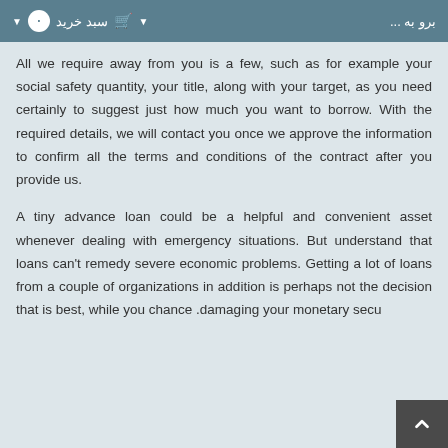بروبه ... سبد خرید ▼ · ▼
All we require away from you is a few, such as for example your social safety quantity, your title, along with your target, as you need certainly to suggest just how much you want to borrow. With the required details, we will contact you once we approve the information to confirm all the terms and conditions of the contract after you provide us.
A tiny advance loan could be a helpful and convenient asset whenever dealing with emergency situations. But understand that loans can't remedy severe economic problems. Getting a lot of loans from a couple of organizations in addition is perhaps not the decision that is best, while you chance damaging your monetary secu...